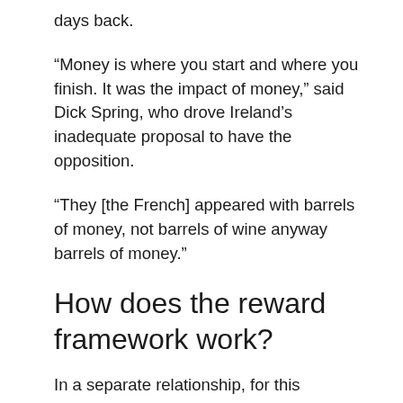days back.
“Money is where you start and where you finish. It was the impact of money,” said Dick Spring, who drove Ireland’s inadequate proposal to have the opposition.
“They [the French] appeared with barrels of money, not barrels of wine anyway barrels of money.”
How does the reward framework work?
In a separate relationship, for this situation, the Rugby Football Union (RFU) and South African Rugby Union (SARU) decide the rewards gave to players under their exhibitions at the competition.